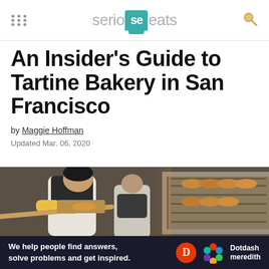serious eats
An Insider's Guide to Tartine Bakery in San Francisco
by Maggie Hoffman
Updated Mar. 06, 2020
[Figure (photo): Bakery worker in apron and yellow oven mitts pulling bread from an industrial oven using a long wooden paddle]
We help people find answers, solve problems and get inspired. Dotdash meredith